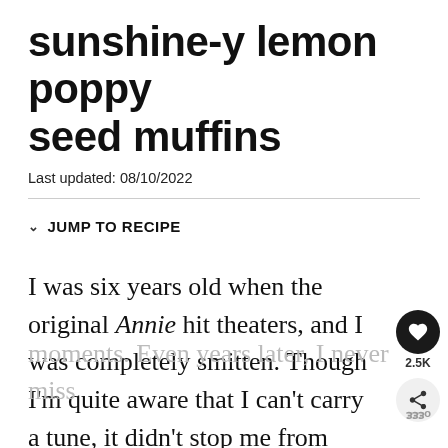sunshine-y lemon poppy seed muffins
Last updated: 08/10/2022
JUMP TO RECIPE
I was six years old when the original Annie hit theaters, and I was completely smitten. Though I'm quite aware that I can't carry a tune, it didn't stop me from learning all of the words to “Tomorrow” and belting them out at random moments. Even years later, I never miss